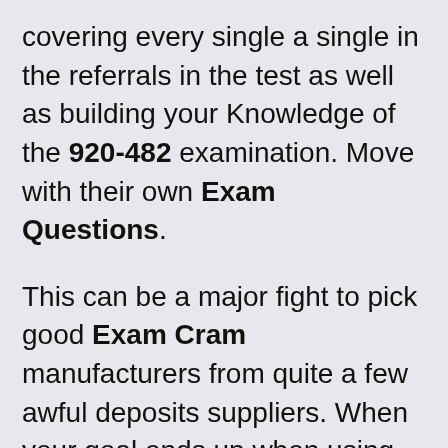covering every single a single in the referrals in the test as well as building your Knowledge of the 920-482 examination. Move with their own Exam Questions.
This can be a major fight to pick good Exam Cram manufacturers from quite a few awful deposits suppliers. When your goal ends up when using awful Exam Cram supplier, the next accreditation may turn into a